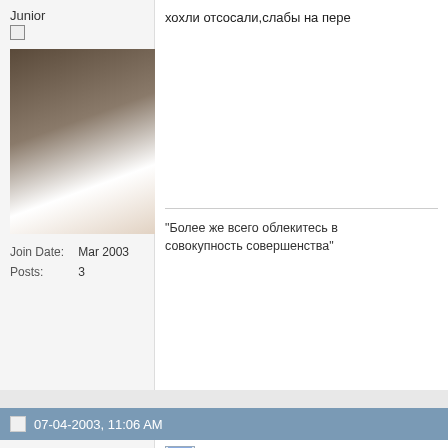Junior
[Figure (photo): User avatar photo of a person in white shirt in library setting]
Join Date: Mar 2003
Posts: 3
хохли отсосали,слабы на пере
"Более же всего облекитесь в совокупность совершенства"
07-04-2003, 11:06 AM
Zam
Level 1 User
[Figure (photo): User avatar photo of a baby]
Join Date: Jun 2003
Location: из прекрасного "далёко"
Ура!
Л.Льюис офи подтвердил согласие на